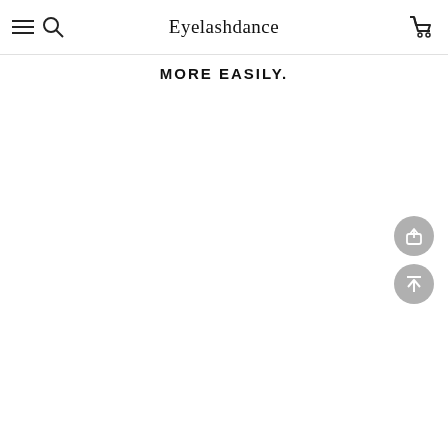Eyelashdance
MORE EASILY.
[Figure (screenshot): Share button icon - circular grey button with share/upload symbol]
[Figure (screenshot): Back to top button - circular grey button with upward arrow symbol]